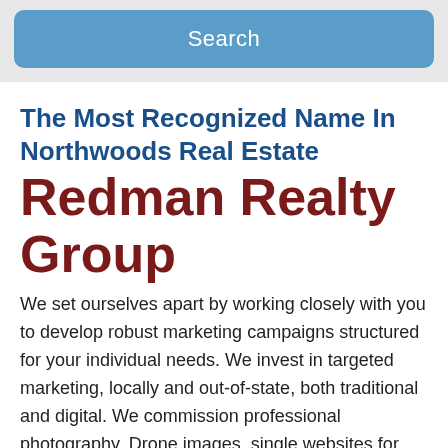[Figure (screenshot): Blue rounded search button on grey background]
The Most Recognized Name In Northwoods Real Estate Redman Realty Group
We set ourselves apart by working closely with you to develop robust marketing campaigns structured for your individual needs. We invest in targeted marketing, locally and out-of-state, both traditional and digital. We commission professional photography, Drone images, single websites for individual properties, and we were the first Brokerage in the Northwoods to use the cutting edge, state-of-the-art technology of the 3D Scan, as part of our